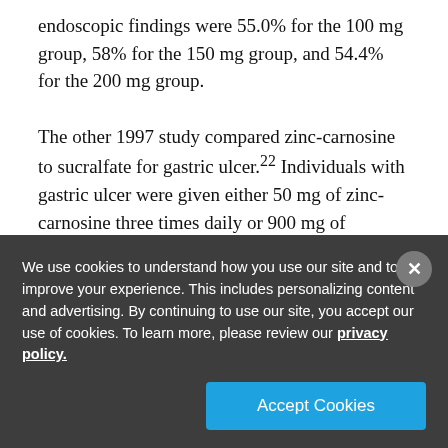endoscopic findings were 55.0% for the 100 mg group, 58% for the 150 mg group, and 54.4% for the 200 mg group.
The other 1997 study compared zinc-carnosine to sucralfate for gastric ulcer.22 Individuals with gastric ulcer were given either 50 mg of zinc-carnosine three times daily or 900 mg of sucralfate three times daily. Overall improvement was 81.2% in the zinc-carnosine group and 78.4% in the sucralfate group.
We use cookies to understand how you use our site and to improve your experience. This includes personalizing content and advertising. By continuing to use our site, you accept our use of cookies. To learn more, please review our privacy policy.